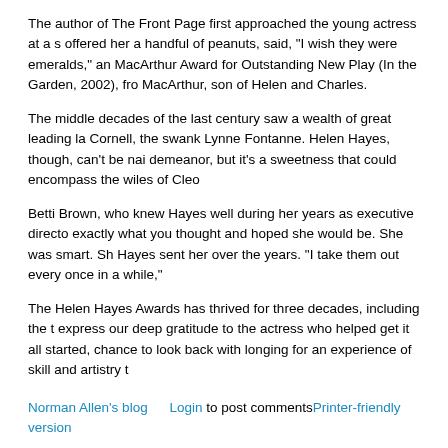The author of The Front Page first approached the young actress at a s offered her a handful of peanuts, said, "I wish they were emeralds," an MacArthur Award for Outstanding New Play (In the Garden, 2002), fro MacArthur, son of Helen and Charles.
The middle decades of the last century saw a wealth of great leading la Cornell, the swank Lynne Fontanne. Helen Hayes, though, can't be nai demeanor, but it's a sweetness that could encompass the wiles of Cleo
Betti Brown, who knew Hayes well during her years as executive directo exactly what you thought and hoped she would be. She was smart. Sh Hayes sent her over the years. "I take them out every once in a while,"
The Helen Hayes Awards has thrived for three decades, including the t express our deep gratitude to the actress who helped get it all started, chance to look back with longing for an experience of skill and artistry t
Norman Allen's blog    Login to post comments Printer-friendly version